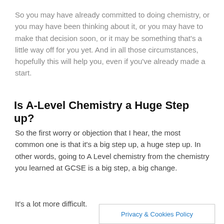So you may have already committed to doing chemistry, or you may have been thinking about it, or you may have to make that decision soon, or it may be something that's a little way off for you yet. And in all those circumstances, hopefully this will help you, even if you've already made a start.
Is A-Level Chemistry a Huge Step up?
So the first worry or objection that I hear, the most common one is that it's a big step up, a huge step up. In other words, going to A Level chemistry from the chemistry you learned at GCSE is a big step, a big change.
It's a lot more difficult.
Privacy & Cookies Policy